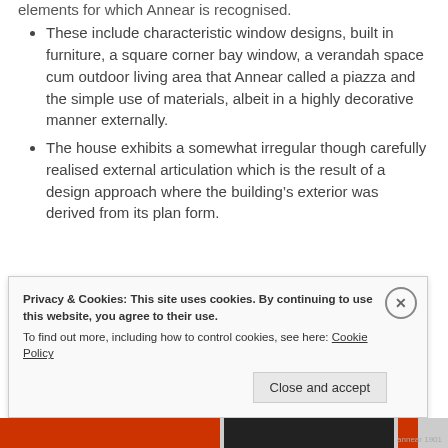These include characteristic window designs, built in furniture, a square corner bay window, a verandah space cum outdoor living area that Annear called a piazza and the simple use of materials, albeit in a highly decorative manner externally.
The house exhibits a somewhat irregular though carefully realised external articulation which is the result of a design approach where the building's exterior was derived from its plan form.
Privacy & Cookies: This site uses cookies. By continuing to use this website, you agree to their use. To find out more, including how to control cookies, see here: Cookie Policy
Close and accept